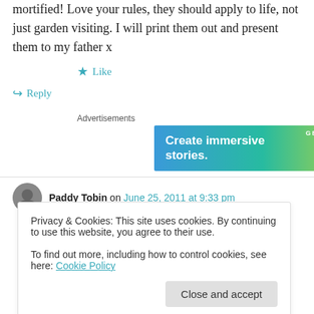mortified! Love your rules, they should apply to life, not just garden visiting. I will print them out and present them to my father x
★ Like
↪ Reply
Advertisements
[Figure (other): WordPress advertisement banner: 'Create immersive stories. GET THE APP' with WordPress logo]
Paddy Tobin on June 25, 2011 at 9:33 pm
Privacy & Cookies: This site uses cookies. By continuing to use this website, you agree to their use.
To find out more, including how to control cookies, see here: Cookie Policy
Close and accept
by visitors. I wonder was this the occasion of the